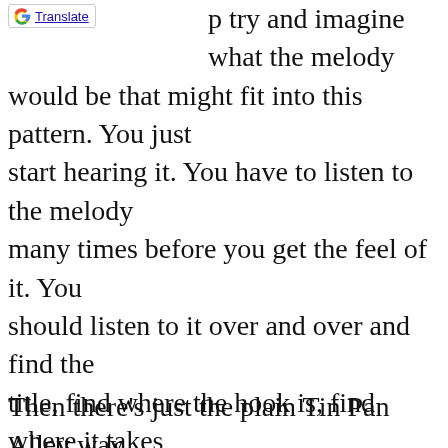[Figure (logo): Google Translate button/widget with G logo and underlined Translate text]
p try and imagine what the melody would be that might fit into this pattern. You just start hearing it. You have to listen to the melody many times before you get the feel of it. You should listen to it over and over and find the title, find where the hook is, find where it takes off, find whether the hook is at the beginning of the chorus or the end of the chorus or if it's included in the verse or just exactly where it's located in the song. You have to find that. It's where the money moment of the song is. You've got to find that.
Then there's just the plain Tin Pan Alley way, where you come with a line and I come up with a